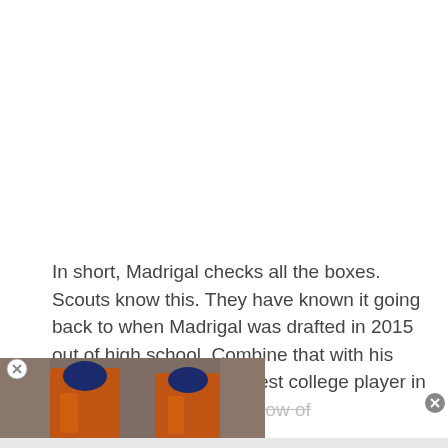In short, Madrigal checks all the boxes. Scouts know this. They have known it going back to when Madrigal was drafted in 2015 out of high school. Combine that with his track record at Oregon best college player in the nly need a small window of
[Figure (photo): Two baseball players in orange Houston Astros uniforms standing together, crowd visible in background]